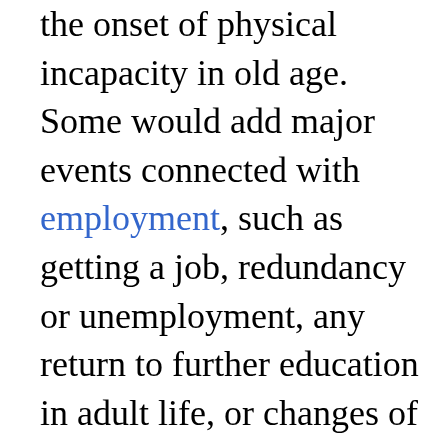the onset of physical incapacity in old age. Some would add major events connected with employment, such as getting a job, redundancy or unemployment, any return to further education in adult life, or changes of employer or occupation; others would treat these as secondary events. Life-events constitute significant turning-points in a person's life, in the roles and activities they are encouraged to adopt, and the groups they interact with, and may be associated with